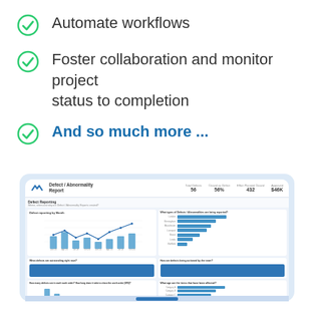Automate workflows
Foster collaboration and monitor project status to completion
And so much more ...
[Figure (screenshot): A laptop/dashboard screenshot showing a 'Defect / Abnormality Report' with metrics (56, 56%, 432, $46K), charts including bar chart, line chart, and horizontal bar charts, and blue colored data panels.]